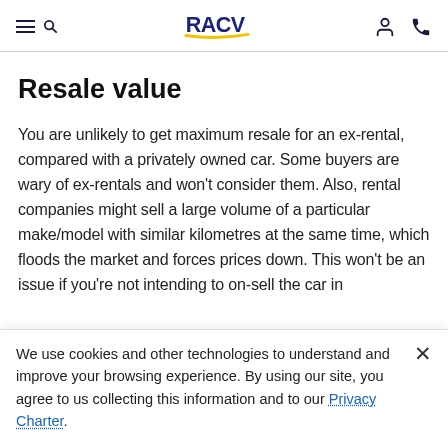RACV
Resale value
You are unlikely to get maximum resale for an ex-rental, compared with a privately owned car. Some buyers are wary of ex-rentals and won't consider them. Also, rental companies might sell a large volume of a particular make/model with similar kilometres at the same time, which floods the market and forces prices down. This won't be an issue if you're not intending to on-sell the car in
We use cookies and other technologies to understand and improve your browsing experience. By using our site, you agree to us collecting this information and to our Privacy Charter.